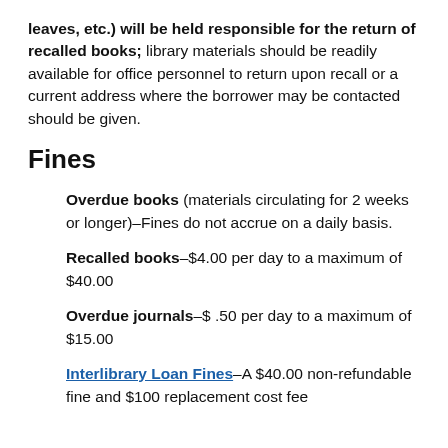leaves, etc.) will be held responsible for the return of recalled books; library materials should be readily available for office personnel to return upon recall or a current address where the borrower may be contacted should be given.
Fines
Overdue books (materials circulating for 2 weeks or longer)–Fines do not accrue on a daily basis.
Recalled books–$4.00 per day to a maximum of $40.00
Overdue journals–$ .50 per day to a maximum of $15.00
Interlibrary Loan Fines–A $40.00 non-refundable fine and $100 replacement cost fee